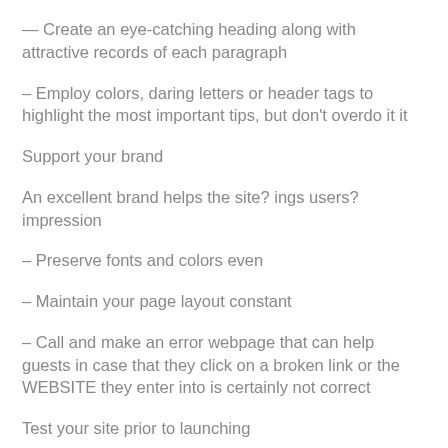— Create an eye-catching heading along with attractive records of each paragraph
– Employ colors, daring letters or header tags to highlight the most important tips, but don't overdo it it
Support your brand
An excellent brand helps the site? ings users? impression
– Preserve fonts and colors even
– Maintain your page layout constant
– Call and make an error webpage that can help guests in case that they click on a broken link or the WEBSITE they enter into is certainly not correct
Test your site prior to launching